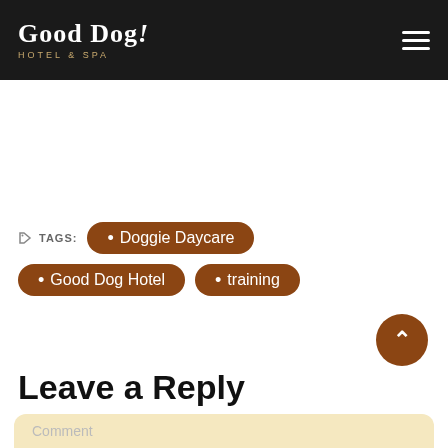Good Dog! Hotel & Spa
TAGS: • Doggie Daycare • Good Dog Hotel • training
Leave a Reply
Comment